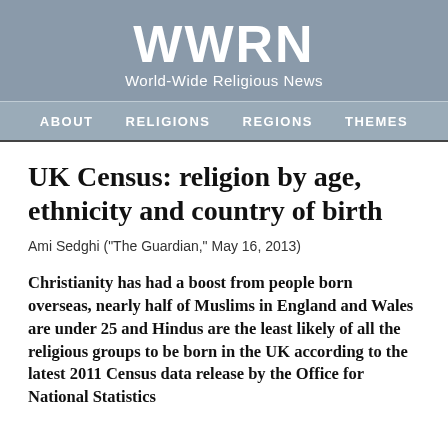WWRN
World-Wide Religious News
ABOUT   RELIGIONS   REGIONS   THEMES
UK Census: religion by age, ethnicity and country of birth
Ami Sedghi ("The Guardian," May 16, 2013)
Christianity has had a boost from people born overseas, nearly half of Muslims in England and Wales are under 25 and Hindus are the least likely of all the religious groups to be born in the UK according to the latest 2011 Census data release by the Office for National Statistics